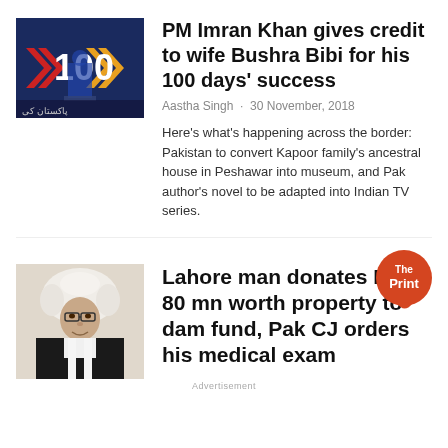[Figure (photo): Photo of PM Imran Khan speaking at a podium with '100' branding and Pakistan flags]
PM Imran Khan gives credit to wife Bushra Bibi for his 100 days' success
Aastha Singh · 30 November, 2018
Here’s what’s happening across the border: Pakistan to convert Kapoor family’s ancestral house in Peshawar into museum, and Pak author’s novel to be adapted into Indian TV series.
[Figure (photo): Photo of a judge in traditional court wig and robes]
[Figure (logo): The Print logo - orange circle with speech bubble]
Lahore man donates Rs 80 mn worth property to dam fund, Pak CJ orders his medical exam
Advertisement